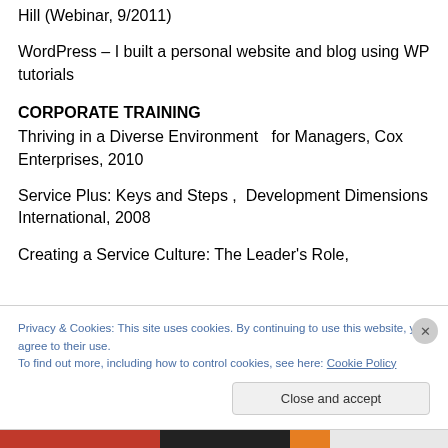Hill (Webinar, 9/2011)
WordPress – I built a personal website and blog using WP tutorials
CORPORATE TRAINING
Thriving in a Diverse Environment  for Managers, Cox Enterprises, 2010
Service Plus: Keys and Steps ,  Development Dimensions International, 2008
Creating a Service Culture: The Leader's Role,
Privacy & Cookies: This site uses cookies. By continuing to use this website, you agree to their use.
To find out more, including how to control cookies, see here: Cookie Policy
Close and accept